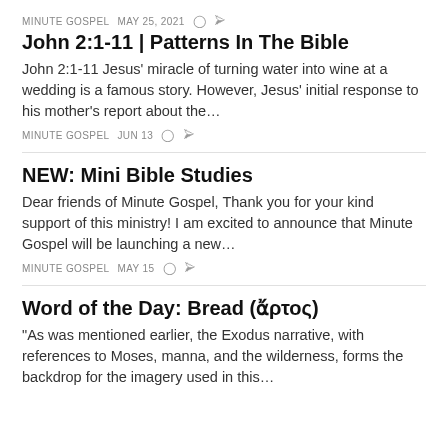MINUTE GOSPEL   MAY 25, 2021
John 2:1-11 | Patterns In The Bible
John 2:1-11 Jesus' miracle of turning water into wine at a wedding is a famous story. However, Jesus' initial response to his mother's report about the…
MINUTE GOSPEL   JUN 13
NEW: Mini Bible Studies
Dear friends of Minute Gospel, Thank you for your kind support of this ministry! I am excited to announce that Minute Gospel will be launching a new…
MINUTE GOSPEL   MAY 15
Word of the Day: Bread (ἄρτος)
“As was mentioned earlier, the Exodus narrative, with references to Moses, manna, and the wilderness, forms the backdrop for the imagery used in this…